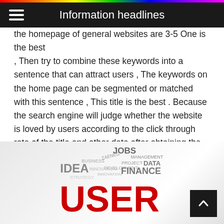Information headlines
the homepage of general websites are 3-5 One is the best , Then try to combine these keywords into a sentence that can attract users , The keywords on the home page can be segmented or matched with this sentence , This title is the best . Because the search engine will judge whether the website is loved by users according to the click through rate of the title and other data after obtaining the ranking , So attracting users to click is also a key point to improve the ranking of website keywords , We must consider this dimension in the title .
[Figure (illustration): Word cloud graphic featuring words: JOBS, MANAGEMENT, PROJECT, BUSINESS, DATA, DEVELOPMENT, INNOVATION, IDEA, USER, FINANCE in various sizes, with USER in large red letters at the bottom center]